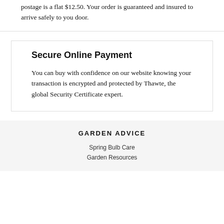postage is a flat $12.50. Your order is guaranteed and insured to arrive safely to you door.
Secure Online Payment
You can buy with confidence on our website knowing your transaction is encrypted and protected by Thawte, the global Security Certificate expert.
GARDEN ADVICE
Spring Bulb Care
Garden Resources